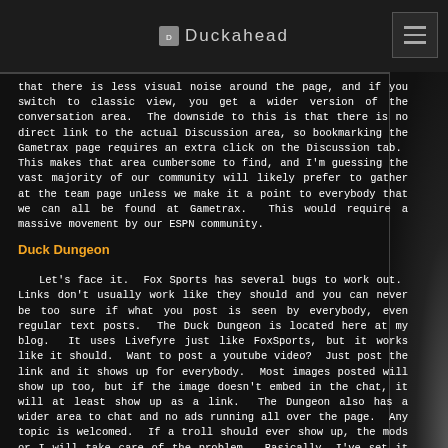Duckahead
that there is less visual noise around the page, and if you switch to classic view, you get a wider version of the conversation area.  The downside to this is that there is no direct link to the actual Discussion area, so bookmarking the Gametrax page requires an extra click on the Discussion tab.  This makes that area cumbersome to find, and I'm guessing the vast majority of our community will likely prefer to gather at the team page unless we make it a point to everybody that we can all be found at Gametrax.  This would require a massive movement by our ESPN community.
Duck Dungeon
Let's face it.  Fox Sports has several bugs to work out.  Links don't usually work like they should and you can never be too sure if what you post is seen by everybody, even regular text posts.  The Duck Dungeon is located here at my blog.  It uses Livefyre just like FoxSports, but it works like it should.  Want to post a youtube video?  Just post the link and it shows up for everybody.  Most images posted will show up too, but if the image doesn't embed in the chat, it will at least show up as a link.  The Dungeon also has a wider area to chat and no ads running all over the page.  Any topic is welcomed.  If a troll should ever show up, the mods or I will take care of the problem.  Basically, I've set it up so it works like it should.  So far, so good.
The downside with the Dungeon is that I've got it sort of hidden away.  It's difficult to get a room full of people at this time, but hopefully the popularity will grow this season.  Basically it's a secret club, and if you want to go there, you'll have to look around for clues on this page or ask somebody where to find it.  There is also no way to look up schedules or stats or converse with opponents at my site.  I didn't intend it to be the primary gathering for all Duck fans, but I offer it as